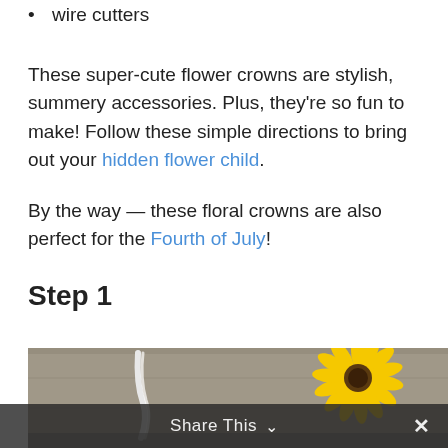wire cutters
These super-cute flower crowns are stylish, summery accessories. Plus, they're so fun to make! Follow these simple directions to bring out your hidden flower child.
By the way — these floral crowns are also perfect for the Fourth of July!
Step 1
[Figure (photo): A photo showing a white ribbon/wire and a yellow daisy-like flower on a grey surface, partially cropped at the bottom of the page.]
Share This ∨  ✕